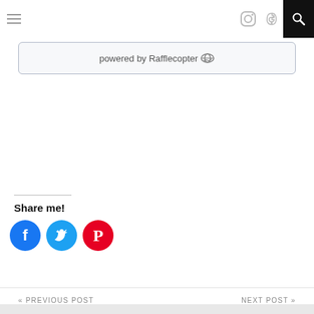Navigation bar with hamburger menu, Instagram icon, Pinterest icon, and search button
powered by Rafflecopter
Share me!
[Figure (illustration): Three social media share buttons: Facebook (blue circle with f icon), Twitter (cyan circle with bird icon), Pinterest (red circle with P icon)]
« PREVIOUS POST    NEXT POST »